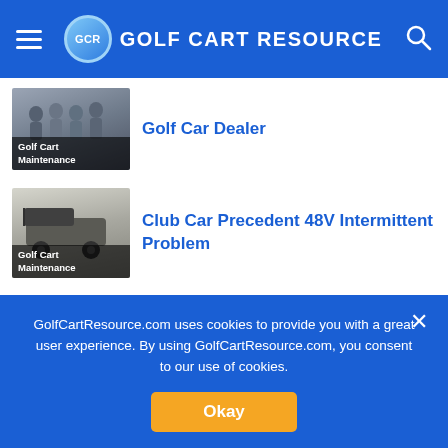GCR GOLF CART RESOURCE
[Figure (photo): Thumbnail image showing a group of people at a golf car dealer, labeled 'Golf Cart Maintenance']
Golf Car Dealer
[Figure (photo): Thumbnail image of a golf cart, labeled 'Golf Cart Maintenance']
Club Car Precedent 48V Intermittent Problem
[Figure (photo): Thumbnail image of multiple golf carts, labeled 'Featured Articles']
Now is the Time to Buy a Golf Cart and Ditch the Extra Car in the Garage
GolfCartResource.com uses cookies to provide you with a great user experience. By using GolfCartResource.com, you consent to our use of cookies.